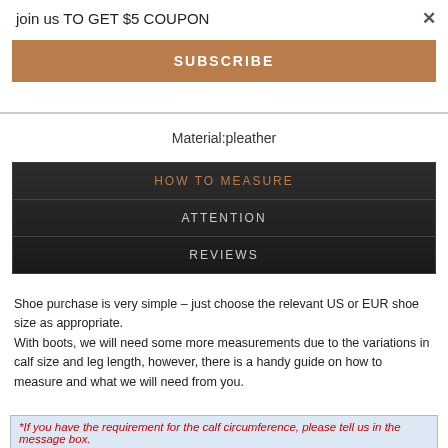join us TO GET $5 COUPON
SUBSCRIBE
Material:pleather
HOW TO MEASURE
ATTENTION
REVIEWS
Shoe purchase is very simple – just choose the relevant US or EUR shoe size as appropriate.
With boots, we will need some more measurements due to the variations in calf size and leg length, however, there is a handy guide on how to measure and what we will need from you.
*If you have the requirement for the calf circumference, please tell us in the message box.